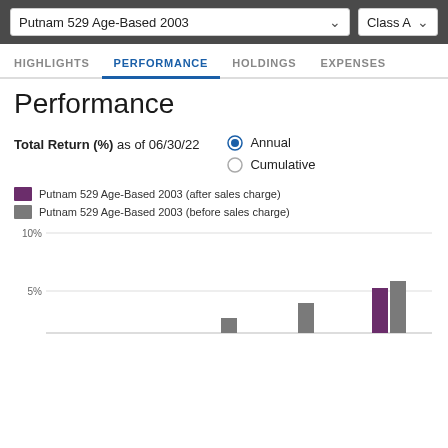Putnam 529 Age-Based 2003 | Class A
HIGHLIGHTS  PERFORMANCE  HOLDINGS  EXPENSES
Performance
Total Return (%) as of 06/30/22
Annual
Cumulative
Putnam 529 Age-Based 2003 (after sales charge)
Putnam 529 Age-Based 2003 (before sales charge)
[Figure (bar-chart): Total Return (%) as of 06/30/22]